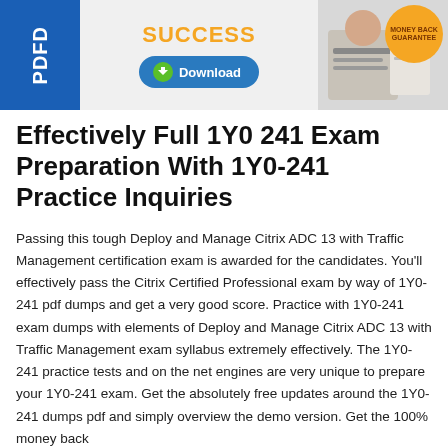[Figure (illustration): Advertisement banner with blue PDFD logo on left, orange SUCCESS text and Download button in center, person studying image on right with Money Back Guarantee orange badge]
Effectively Full 1Y0 241 Exam Preparation With 1Y0-241 Practice Inquiries
Passing this tough Deploy and Manage Citrix ADC 13 with Traffic Management certification exam is awarded for the candidates. You'll effectively pass the Citrix Certified Professional exam by way of 1Y0-241 pdf dumps and get a very good score. Practice with 1Y0-241 exam dumps with elements of Deploy and Manage Citrix ADC 13 with Traffic Management exam syllabus extremely effectively. The 1Y0-241 practice tests and on the net engines are very unique to prepare your 1Y0-241 exam. Get the absolutely free updates around the 1Y0-241 dumps pdf and simply overview the demo version. Get the 100% money back